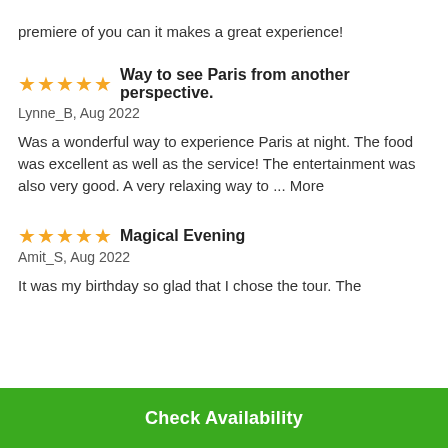premiere of you can it makes a great experience!
Way to see Paris from another perspective.
Lynne_B, Aug 2022
Was a wonderful way to experience Paris at night. The food was excellent as well as the service! The entertainment was also very good. A very relaxing way to ... More
Magical Evening
Amit_S, Aug 2022
It was my birthday so glad that I chose the tour. The
Check Availability